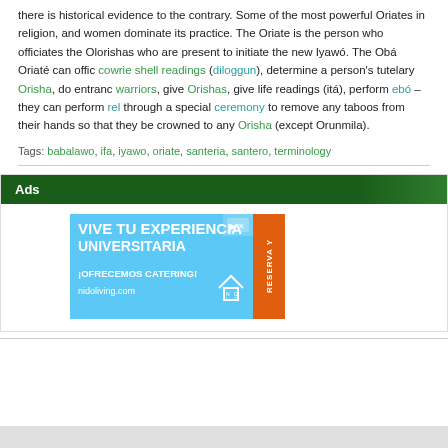there is historical evidence to the contrary. Some of the most powerful Oriates in religion, and women dominate its practice. The Oriate is the person who officiates the Olorishas who are present to initiate the new Iyawó. The Obá Oriaté can offic cowrie shell readings (diloggun), determine a person's tutelary Orisha, do entranc warriors, give Orishas, give life readings (itá), perform ebó – they can perform rel through a special ceremony to remove any taboos from their hands so that they be crowned to any Orisha (except Orunmila).
Tags: babalawo, ifa, iyawo, oriate, santeria, santero, terminology
Ads
[Figure (screenshot): Advertisement for nidoliving.com: VIVE TU EXPERIENCIA UNIVERSITARIA ¡OFRECEMOS CATERING! with orange RESERVA Y button on the right.]